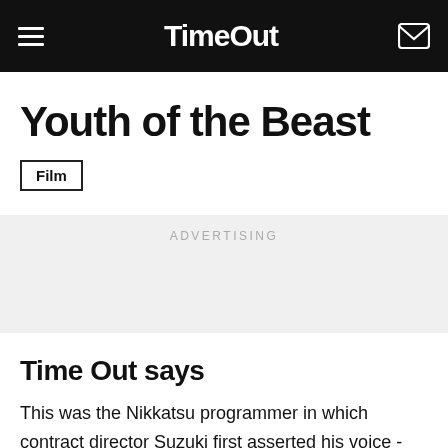Time Out
Youth of the Beast
Film
ADVERTISING
Time Out says
This was the Nikkatsu programmer in which contract director Suzuki first asserted his voice - and assertive is the